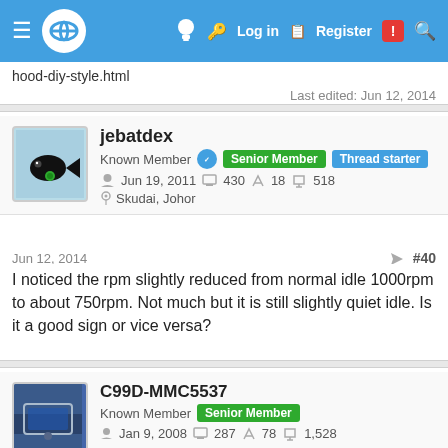00 | Log in | Register
hood-diy-style.html
Last edited: Jun 12, 2014
jebatdex
Known Member | Senior Member | Thread starter
Jun 19, 2011  430  18  518
Skudai, Johor
Jun 12, 2014  #40
I noticed the rpm slightly reduced from normal idle 1000rpm to about 750rpm. Not much but it is still slightly quiet idle. Is it a good sign or vice versa?
C99D-MMC5537
Known Member | Senior Member
Jan 9, 2008  287  78  1,528